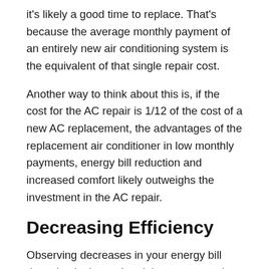it's likely a good time to replace. That's because the average monthly payment of an entirely new air conditioning system is the equivalent of that single repair cost.
Another way to think about this is, if the cost for the AC repair is 1/12 of the cost of a new AC replacement, the advantages of the replacement air conditioner in low monthly payments, energy bill reduction and increased comfort likely outweighs the investment in the AC repair.
Decreasing Efficiency
Observing decreases in your energy bill doesn't take long when it happens month after month. It